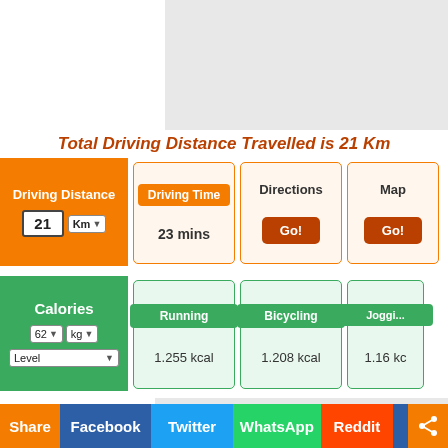[Figure (other): Advertisement placeholder (gray rectangle) at top]
Total Driving Distance Travelled is 21 Km
| Driving Distance | Driving Time | Directions | Map |
| --- | --- | --- | --- |
| 21 Km | 23 mins | Go! | Go! |
| Calories | Running | Bicycling | Jogging |
| --- | --- | --- | --- |
| 62 kg / Level | 1.255 kcal | 1.208 kcal | 1.16 kc... |
[Figure (other): Advertisement placeholder (gray rectangle) at bottom]
Share  Facebook  Twitter  WhatsApp  Reddit